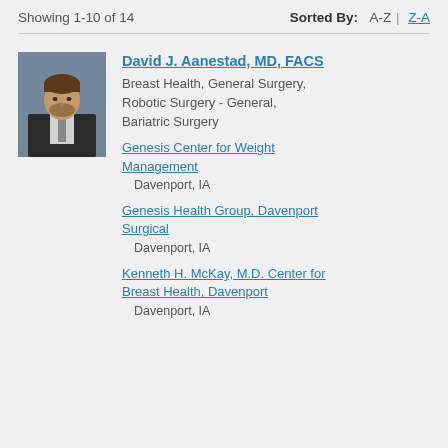Showing 1-10 of 14   Sorted By: A-Z  Z-A
David J. Aanestad, MD, FACS
Breast Health, General Surgery, Robotic Surgery - General, Bariatric Surgery
Genesis Center for Weight Management
Davenport, IA
Genesis Health Group, Davenport Surgical
Davenport, IA
Kenneth H. McKay, M.D. Center for Breast Health, Davenport
Davenport, IA